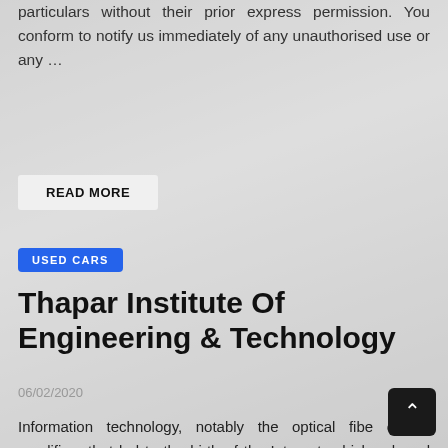particulars without their prior express permission. You conform to notify us immediately of any unauthorised use or any …
READ MORE
USED CARS
Thapar Institute Of Engineering & Technology
06/02/2020
Information technology, notably the optical fibe optical amplifiers that led to the birth of the Internet, which ushered within the Information Age. Humans began to discover area with satellites and in crewed missions going